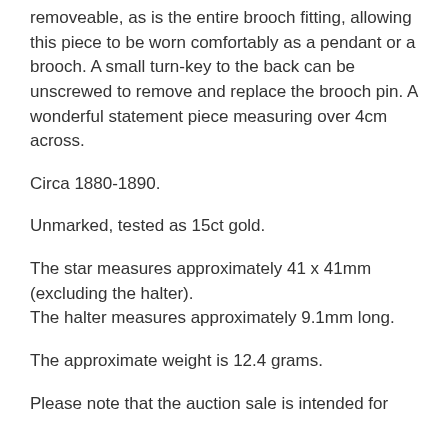removeable, as is the entire brooch fitting, allowing this piece to be worn comfortably as a pendant or a brooch. A small turn-key to the back can be unscrewed to remove and replace the brooch pin. A wonderful statement piece measuring over 4cm across.
Circa 1880-1890.
Unmarked, tested as 15ct gold.
The star measures approximately 41 x 41mm (excluding the halter).
The halter measures approximately 9.1mm long.
The approximate weight is 12.4 grams.
Please note that the auction sale is intended for